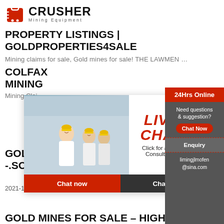[Figure (logo): Crusher Mining Equipment logo with red shopping bag icon and bold text]
PROPERTY LISTINGS | GOLDPROPERTIES4SALE
Mining claims for sale, Gold mines for sale! THE LAWMEN …
COLFAX MINING
Mining Clai…
GOLD MINING CLAIMS FOR SALE -.SOME OF THE HIGHEST
2021-11-26 · The gold mining claims we offer…
GOLD MINES FOR SALE – HIGH…
[Figure (screenshot): Live Chat popup with workers in hard hats, LIVE CHAT heading, Click for a Free Consultation text, Chat now and Chat later buttons, and a customer service agent photo]
24Hrs Online
Need questions & suggestion?
Chat Now
Enquiry
limingjlmofen@sina.com